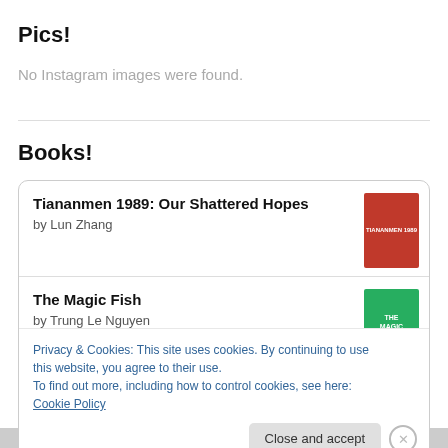Pics!
No Instagram images were found.
Books!
Tiananmen 1989: Our Shattered Hopes
by Lun Zhang
The Magic Fish
by Trung Le Nguyen
Privacy & Cookies: This site uses cookies. By continuing to use this website, you agree to their use.
To find out more, including how to control cookies, see here: Cookie Policy
Close and accept